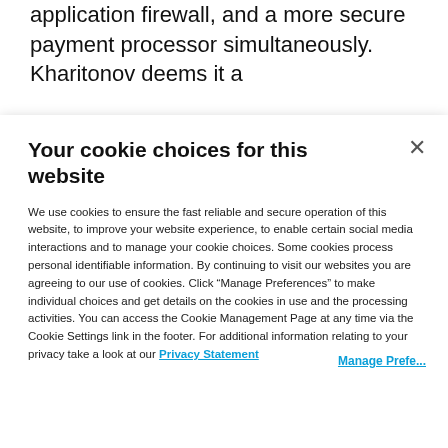application firewall, and a more secure payment processor simultaneously. Kharitonov deems it a [partially obscured text]
Your cookie choices for this website
We use cookies to ensure the fast reliable and secure operation of this website, to improve your website experience, to enable certain social media interactions and to manage your cookie choices. Some cookies process personal identifiable information. By continuing to visit our websites you are agreeing to our use of cookies. Click “Manage Preferences” to make individual choices and get details on the cookies in use and the processing activities. You can access the Cookie Management Page at any time via the Cookie Settings link in the footer. For additional information relating to your privacy take a look at our Privacy Statement
Manage Preferences